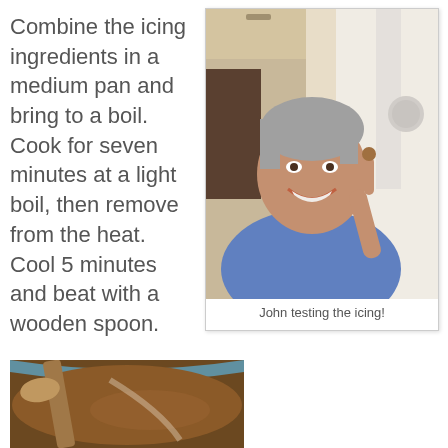Combine the icing ingredients in a medium pan and bring to a boil. Cook for seven minutes at a light boil, then remove from the heat. Cool 5 minutes and beat with a wooden spoon.
[Figure (photo): A smiling man in a blue t-shirt holding up his finger with a small cookie or piece of icing on it, inside a kitchen or room setting.]
John testing the icing!
[Figure (photo): Close-up of a wooden spoon stirring dark brown icing or sauce in a blue bowl.]